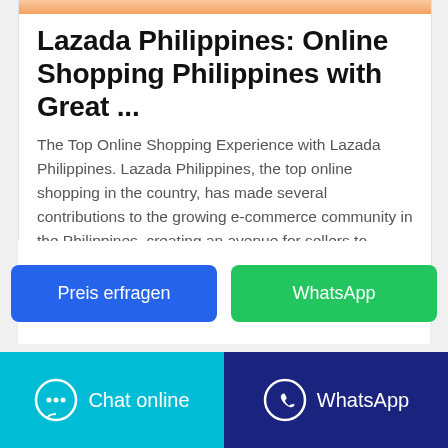[Figure (photo): Partial image strip at top of card, showing a cropped product/person image in warm orange/skin tones]
Lazada Philippines: Online Shopping Philippines with Great ...
The Top Online Shopping Experience with Lazada Philippines. Lazada Philippines, the top online shopping in the country, has made several contributions to the growing e-commerce community in the Philippines, creating an avenue for sellers to promote their items online, while also giving Filipinos new ways to discover and buy the best products for themselves.
Preis erfragen
WhatsApp
Chat online
WhatsApp